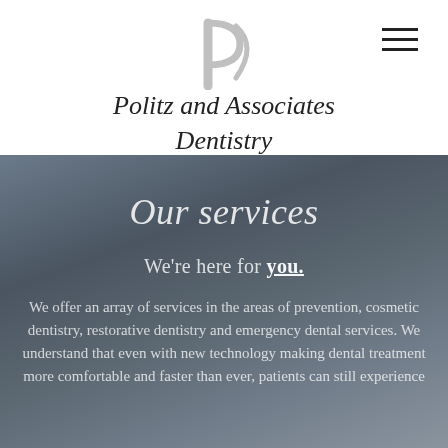[Figure (logo): Stylized P letter logo in light gray/silver for Politz and Associates Dentistry]
Politz and Associates Dentistry
Our services
We're here for you.
We offer an array of services in the areas of prevention, cosmetic dentistry, restorative dentistry and emergency dental services. We understand that even with new technology making dental treatment more comfortable and faster than ever, patients can still experience